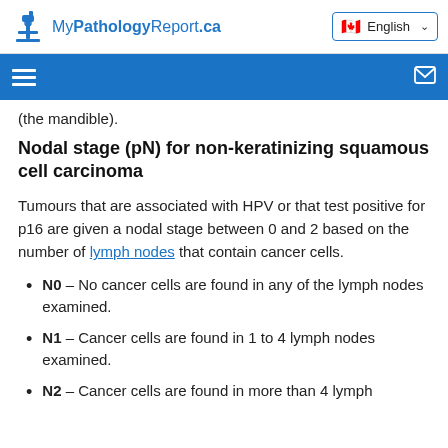MyPathologyReport.ca | English
(the mandible).
Nodal stage (pN) for non-keratinizing squamous cell carcinoma
Tumours that are associated with HPV or that test positive for p16 are given a nodal stage between 0 and 2 based on the number of lymph nodes that contain cancer cells.
N0 – No cancer cells are found in any of the lymph nodes examined.
N1 – Cancer cells are found in 1 to 4 lymph nodes examined.
N2 – Cancer cells are found in more than 4 lymph...